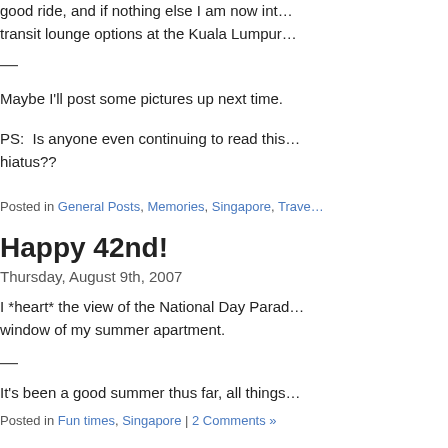good ride, and if nothing else I am now int… transit lounge options at the Kuala Lumpur…
—
Maybe I'll post some pictures up next time.
PS:  Is anyone even continuing to read this… hiatus??
Posted in General Posts, Memories, Singapore, Trave…
Happy 42nd!
Thursday, August 9th, 2007
I *heart* the view of the National Day Parad… window of my summer apartment.
—
It's been a good summer thus far, all things…
Posted in Fun times, Singapore | 2 Comments »
Fashion capitals…
Tuesday, August 7th, 2007
One of the more impressive pieces of news…